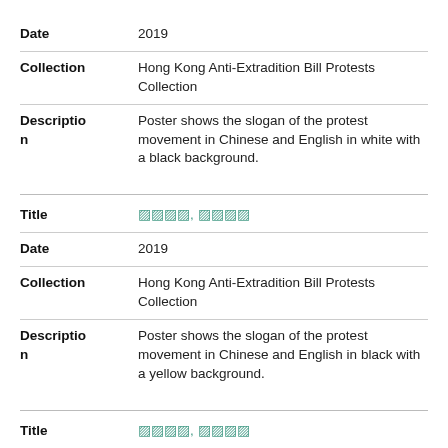| Date | 2019 |
| Collection | Hong Kong Anti-Extradition Bill Protests Collection |
| Description | Poster shows the slogan of the protest movement in Chinese and English in white with a black background. |
| Title | [Chinese characters], [Chinese characters] |
| Date | 2019 |
| Collection | Hong Kong Anti-Extradition Bill Protests Collection |
| Description | Poster shows the slogan of the protest movement in Chinese and English in black with a yellow background. |
| Title | [Chinese characters], [Chinese characters] |